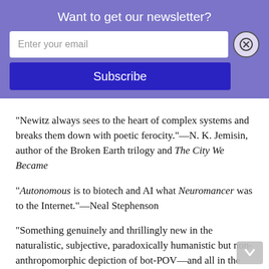Want to get our newsletter?
Enter your email
Subscribe
"Newitz always sees to the heart of complex systems and breaks them down with poetic ferocity."—N. K. Jemisin, author of the Broken Earth trilogy and The City We Became
"Autonomous is to biotech and AI what Neuromancer was to the Internet."—Neal Stephenson
"Something genuinely and thrillingly new in the naturalistic, subjective, paradoxically humanistic but non-anthropomorphic depiction of bot-POV—and all in the service of vivid, solid storytelling."—William Gibson
"This book is a cyborg. Partly, it's a novel of ideas, about property, the very concept of it, and how our laws and systems about property shape class structure and society, as well as